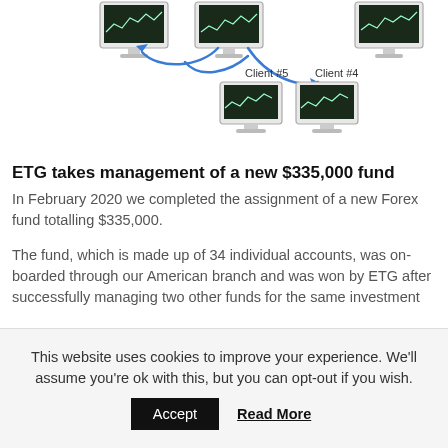[Figure (schematic): Diagram showing multiple computer monitors with trading charts, connected by blue arrows indicating fund/account relationships. Client #5 and Client #4 are labeled below two of the monitors.]
ETG takes management of a new $335,000 fund
In February 2020 we completed the assignment of a new Forex fund totalling $335,000.
The fund, which is made up of 34 individual accounts, was on-boarded through our American branch and was won by ETG after successfully managing two other funds for the same investment
This website uses cookies to improve your experience. We'll assume you're ok with this, but you can opt-out if you wish.